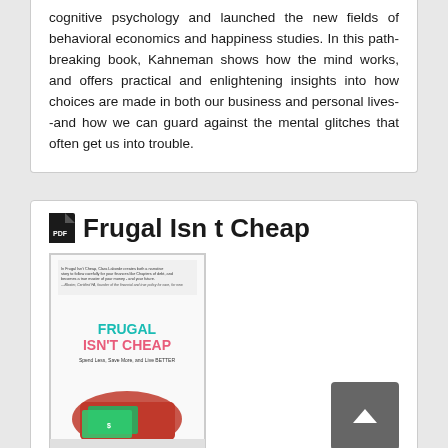cognitive psychology and launched the new fields of behavioral economics and happiness studies. In this path-breaking book, Kahneman shows how the mind works, and offers practical and enlightening insights into how choices are made in both our business and personal lives--and how we can guard against the mental glitches that often get us into trouble.
Frugal Isn t Cheap
[Figure (photo): Book cover of 'Frugal Isn't Cheap' showing the title in teal and pink text with authors listed below, along with a decorative illustration of money/cash at the bottom. A small blurb text appears at the top of the cover.]